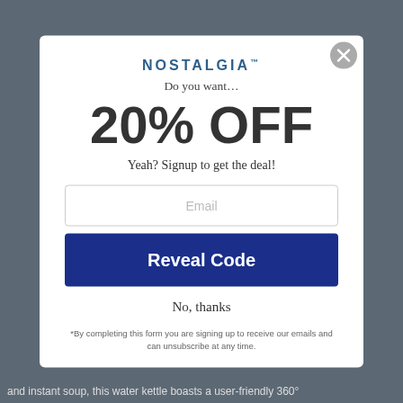[Figure (screenshot): Background webpage content partially visible behind modal overlay]
NOSTALGIA™
Do you want…
20% OFF
Yeah? Signup to get the deal!
Email
Reveal Code
No, thanks
*By completing this form you are signing up to receive our emails and can unsubscribe at any time.